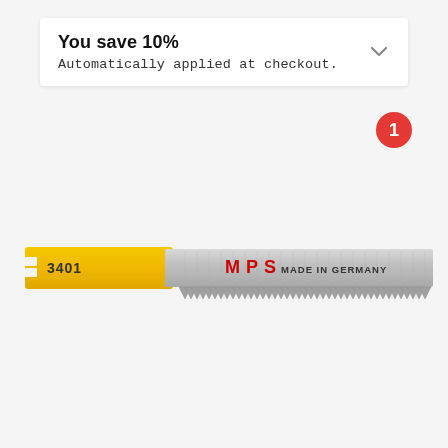You save 10%
Automatically applied at checkout.
[Figure (photo): MPS 3401 jigsaw blade, silver metal blade with yellow handle mount, labeled 'MPS MADE IN GERMANY' in red and black text, with serrated teeth along the bottom edge.]